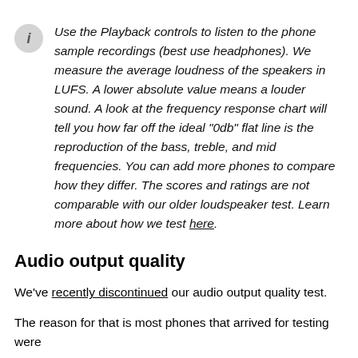Use the Playback controls to listen to the phone sample recordings (best use headphones). We measure the average loudness of the speakers in LUFS. A lower absolute value means a louder sound. A look at the frequency response chart will tell you how far off the ideal "0db" flat line is the reproduction of the bass, treble, and mid frequencies. You can add more phones to compare how they differ. The scores and ratings are not comparable with our older loudspeaker test. Learn more about how we test here.
Audio output quality
We've recently discontinued our audio output quality test.
The reason for that is most phones that arrived for testing were